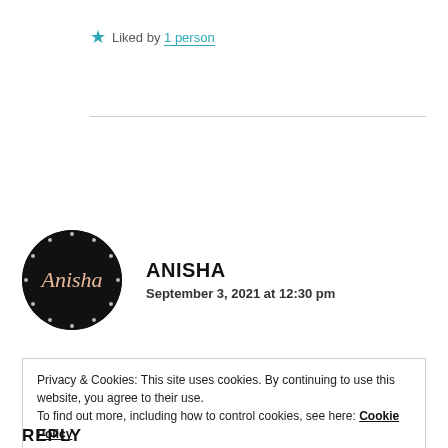★ Liked by 1 person
ANISHA
September 3, 2021 at 12:30 pm
Privacy & Cookies: This site uses cookies. By continuing to use this website, you agree to their use.
To find out more, including how to control cookies, see here: Cookie Policy
Close and accept
REPLY